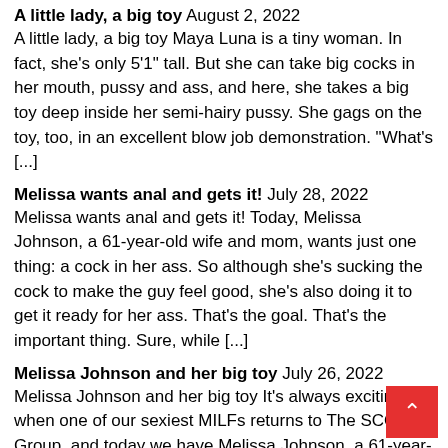A little lady, a big toy August 2, 2022
A little lady, a big toy Maya Luna is a tiny woman. In fact, she's only 5'1" tall. But she can take big cocks in her mouth, pussy and ass, and here, she takes a big toy deep inside her semi-hairy pussy. She gags on the toy, too, in an excellent blow job demonstration. "What's [...]
Melissa wants anal and gets it! July 28, 2022
Melissa wants anal and gets it! Today, Melissa Johnson, a 61-year-old wife and mom, wants just one thing: a cock in her ass. So although she's sucking the cock to make the guy feel good, she's also doing it to get it ready for her ass. That's the goal. That's the important thing. Sure, while [...]
Melissa Johnson and her big toy July 26, 2022
Melissa Johnson and her big toy It's always exciting when one of our sexiest MILFs returns to The SCORE Group, and today we have Melissa Johnson, a 61-year-old wife and mom who has big tits and a scorching body. Melissa is dressed fo..., but she decides to stay home a little longer, take off [...]